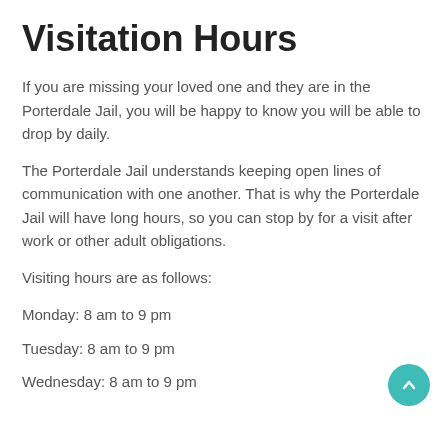Visitation Hours
If you are missing your loved one and they are in the Porterdale Jail, you will be happy to know you will be able to drop by daily.
The Porterdale Jail understands keeping open lines of communication with one another. That is why the Porterdale Jail will have long hours, so you can stop by for a visit after work or other adult obligations.
Visiting hours are as follows:
Monday: 8 am to 9 pm
Tuesday: 8 am to 9 pm
Wednesday: 8 am to 9 pm